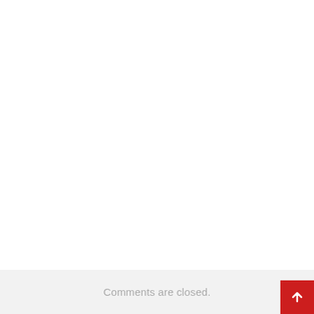Comments are closed.
[Figure (other): Red square button with white upward arrow icon (scroll-to-top button), positioned at bottom-right corner of page]